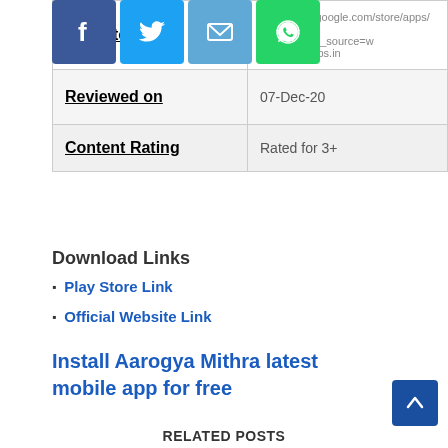[Figure (other): Social share buttons: Facebook (blue), Twitter (light blue), Email (blue), WhatsApp (green)]
| Play Store Link | https://play.google.com/store/apps/details?id=com.aarogyamithr
a&hl=en&utm_source=www.youtuapps.in |
| Reviewed on | 07-Dec-20 |
| Content Rating | Rated for 3+ |
Download Links
Play Store Link
Official Website Link
Install Aarogya Mithra latest mobile app for free
RELATED POSTS